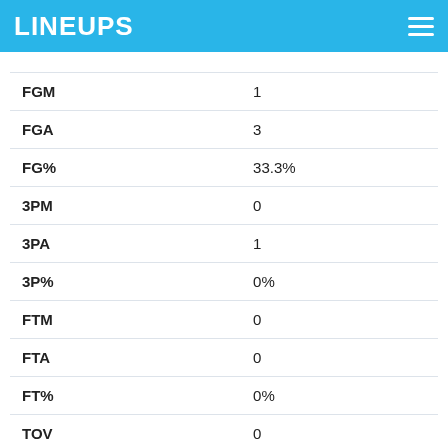LINEUPS
| FGM | 1 |
| FGA | 3 |
| FG% | 33.3% |
| 3PM | 0 |
| 3PA | 1 |
| 3P% | 0% |
| FTM | 0 |
| FTA | 0 |
| FT% | 0% |
| TOV | 0 |
| Rebounds |  |
| TRB | 0 |